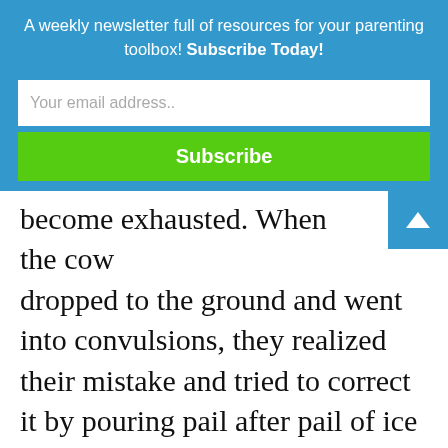A weekly newsletter full of resources for your parenting toolbox! Subscribe Today!
Your email address..
Subscribe
become exhausted. When the cow dropped to the ground and went into convulsions, they realized their mistake and tried to correct it by pouring pail after pail of ice over it, but it was too late — the poor cow died.
When John and one of the boys start